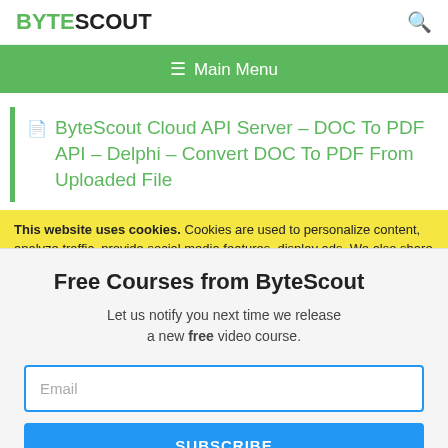BYTESCOUT
[Figure (other): Green navigation bar with hamburger menu icon and text 'Main Menu']
ByteScout Cloud API Server – DOC To PDF API – Delphi – Convert DOC To PDF From Uploaded File
This website uses cookies. Cookies are used to personalize content, analyze traffic, provide social media features, display ads. We also share
Free Courses from ByteScout
Let us notify you next time we release a new free video course.
Email
SUBSCRIBE